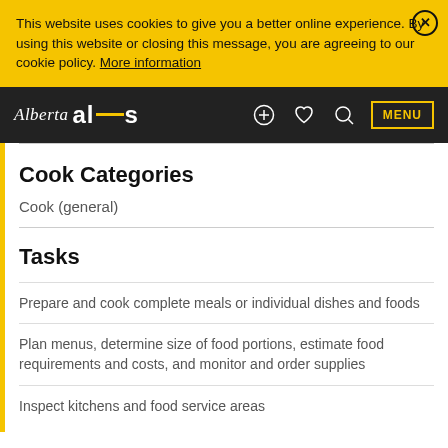This website uses cookies to give you a better online experience. By using this website or closing this message, you are agreeing to our cookie policy. More information
Alberta alis  MENU
Cook Categories
Cook (general)
Tasks
Prepare and cook complete meals or individual dishes and foods
Plan menus, determine size of food portions, estimate food requirements and costs, and monitor and order supplies
Inspect kitchens and food service areas